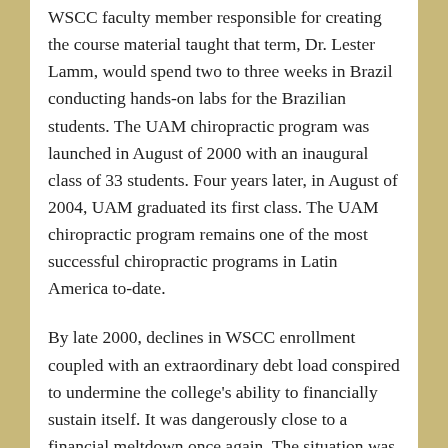WSCC faculty member responsible for creating the course material taught that term, Dr. Lester Lamm, would spend two to three weeks in Brazil conducting hands-on labs for the Brazilian students. The UAM chiropractic program was launched in August of 2000 with an inaugural class of 33 students. Four years later, in August of 2004, UAM graduated its first class. The UAM chiropractic program remains one of the most successful chiropractic programs in Latin America to-date.
By late 2000, declines in WSCC enrollment coupled with an extraordinary debt load conspired to undermine the college's ability to financially sustain itself. It was dangerously close to a financial meltdown once again. The situation was dire; additional funding sources had not been found and the college had cut the operations budget as deeply as was possible. The administration was confident that it could survive the situation...